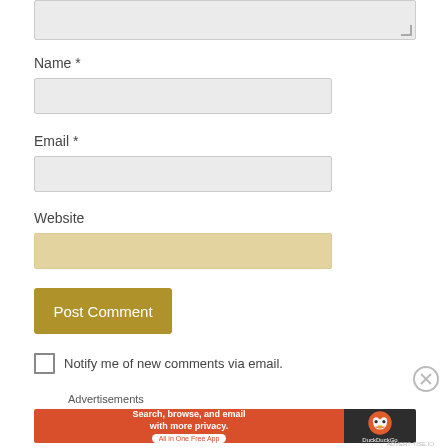[Figure (screenshot): Top portion of a textarea input field with a resize handle in the bottom-right corner, showing a light gray background.]
Name *
[Figure (screenshot): Empty text input field for Name, light gray background.]
Email *
[Figure (screenshot): Empty text input field for Email, light gray background.]
Website
[Figure (screenshot): Empty text input field for Website, golden/tan background.]
[Figure (screenshot): Post Comment button, gold/olive colored rectangular button with white text.]
Notify me of new comments via email.
Advertisements
[Figure (screenshot): DuckDuckGo advertisement banner. Left orange section reads 'Search, browse, and email with more privacy. All in One Free App'. Right dark section shows the DuckDuckGo duck logo and brand name.]